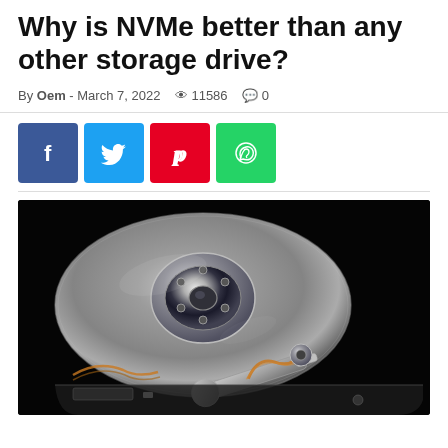Why is NVMe better than any other storage drive?
By Oem - March 7, 2022  👁 11586  💬 0
[Figure (other): Social share buttons: Facebook (blue), Twitter (light blue), Pinterest (red), WhatsApp (green)]
[Figure (photo): Close-up photograph of an open hard disk drive (HDD) showing the silver magnetic platter and read/write arm with actuator, against a dark/black background.]